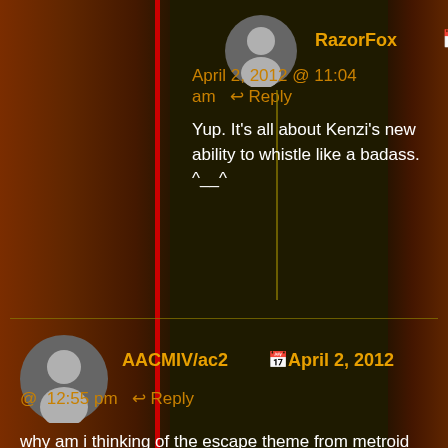RazorFox  April 2, 2012 @ 11:04 am  Reply
Yup. It's all about Kenzi's new ability to whistle like a badass. ^__^
AACMIV/ac2  April 2, 2012 @ 12:55 pm  Reply
why am i thinking of the escape theme from metroid when reading this?